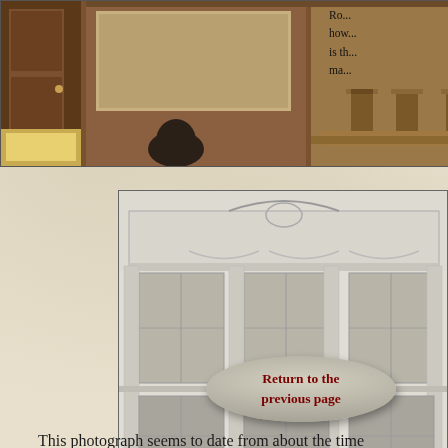[Figure (photo): Interior room photograph showing wooden paneling, chairs, and a table, appearing to be a historic meeting room or chamber]
Ro... how... is th... ma...
This photograph seems to date from about the time the building was opened.  It gives a very good impression of the whole facade.
[Figure (photo): Black and white photograph of a classical building facade, showing ornate stonework, arched pediment, large windows, iron railings, and a horse-drawn vehicle on the street]
Return to the previous page